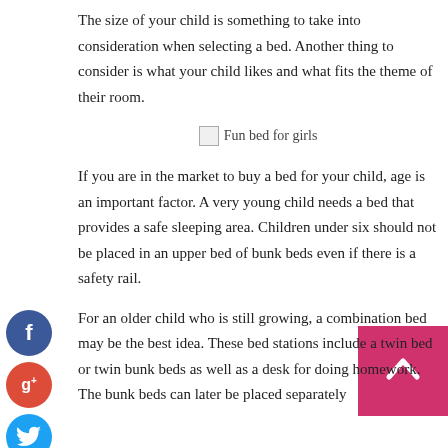The size of your child is something to take into consideration when selecting a bed. Another thing to consider is what your child likes and what fits the theme of their room.
[Figure (photo): Broken image placeholder with alt text 'Fun bed for girls']
If you are in the market to buy a bed for your child, age is an important factor. A very young child needs a bed that provides a safe sleeping area. Children under six should not be placed in an upper bed of bunk beds even if there is a safety rail.
For an older child who is still growing, a combination bed may be the best idea. These bed stations include a twin bed or twin bunk beds as well as a desk for doing homework. The bunk beds can later be placed separately